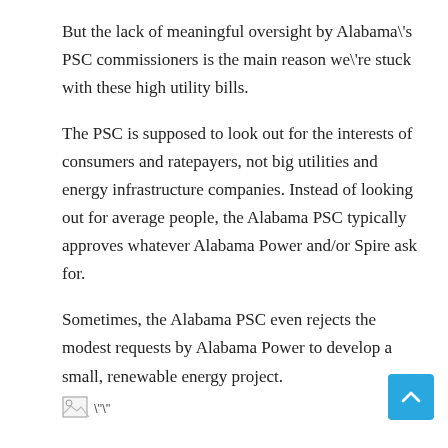But the lack of meaningful oversight by Alabama's PSC commissioners is the main reason we're stuck with these high utility bills.
The PSC is supposed to look out for the interests of consumers and ratepayers, not big utilities and energy infrastructure companies. Instead of looking out for average people, the Alabama PSC typically approves whatever Alabama Power and/or Spire ask for.
Sometimes, the Alabama PSC even rejects the modest requests by Alabama Power to develop a small, renewable energy project.
[Figure (other): Broken image placeholder icon with alt text characters]